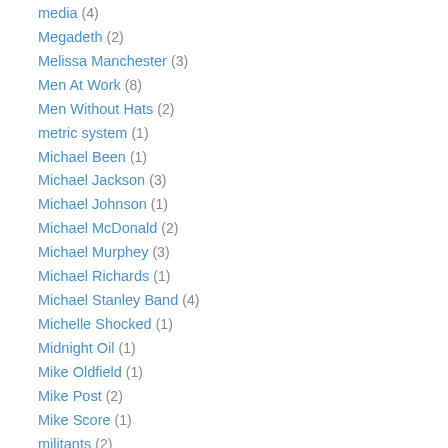media (4)
Megadeth (2)
Melissa Manchester (3)
Men At Work (8)
Men Without Hats (2)
metric system (1)
Michael Been (1)
Michael Jackson (3)
Michael Johnson (1)
Michael McDonald (2)
Michael Murphey (3)
Michael Richards (1)
Michael Stanley Band (4)
Michelle Shocked (1)
Midnight Oil (1)
Mike Oldfield (1)
Mike Post (2)
Mike Score (1)
militants (2)
Milo Jarmi... (1)